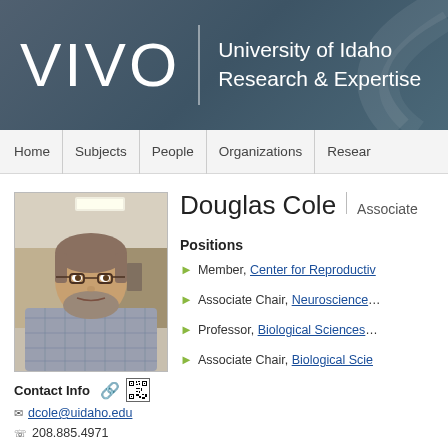[Figure (logo): VIVO logo with University of Idaho Research & Expertise text on dark teal/slate background]
Home | Subjects | People | Organizations | Resear…
[Figure (photo): Profile photo of Douglas Cole, a middle-aged man with glasses and a beard wearing a plaid shirt, in a laboratory setting]
Contact Info
dcole@uidaho.edu
208.885.4971
Douglas Cole | Associate
Positions
Member, Center for Reproductive…
Associate Chair, Neuroscience…
Professor, Biological Sciences…
Associate Chair, Biological Scie…